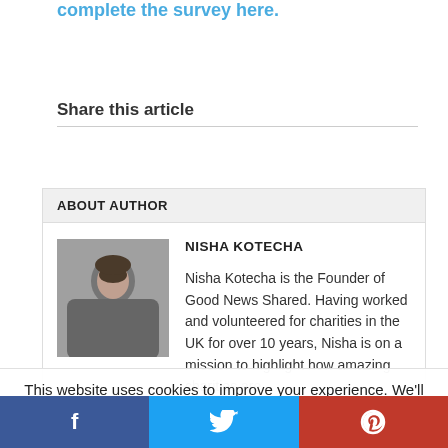complete the survey here.
Share this article
ABOUT AUTHOR
[Figure (photo): Photo of Nisha Kotecha, a woman with dark hair]
NISHA KOTECHA
Nisha Kotecha is the Founder of Good News Shared. Having worked and volunteered for charities in the UK for over 10 years, Nisha is on a mission to highlight how amazing charities are.
This website uses cookies to improve your experience. We'll assume you're ok with this, but you can opt-out if you wish.
Facebook | Twitter | Pinterest social share bar